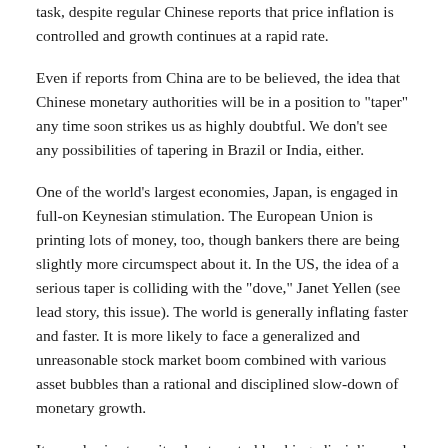task, despite regular Chinese reports that price inflation is controlled and growth continues at a rapid rate.
Even if reports from China are to be believed, the idea that Chinese monetary authorities will be in a position to "taper" any time soon strikes us as highly doubtful. We don't see any possibilities of tapering in Brazil or India, either.
One of the world's largest economies, Japan, is engaged in full-on Keynesian stimulation. The European Union is printing lots of money, too, though bankers there are being slightly more circumspect about it. In the US, the idea of a serious taper is colliding with the "dove," Janet Yellen (see lead story, this issue). The world is generally inflating faster and faster. It is more likely to face a generalized and unreasonable stock market boom combined with various asset bubbles than a rational and disciplined slow-down of monetary growth.
It sounds nice to write about central banking, discipline and "tapering" programs. But central bankers print money. That's